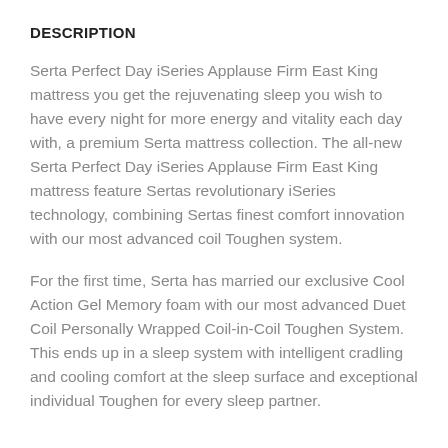DESCRIPTION
Serta Perfect Day iSeries Applause Firm East King mattress you get the rejuvenating sleep you wish to have every night for more energy and vitality each day with, a premium Serta mattress collection. The all-new Serta Perfect Day iSeries Applause Firm East King mattress feature Sertas revolutionary iSeries technology, combining Sertas finest comfort innovation with our most advanced coil Toughen system.
For the first time, Serta has married our exclusive Cool Action Gel Memory foam with our most advanced Duet Coil Personally Wrapped Coil-in-Coil Toughen System. This ends up in a sleep system with intelligent cradling and cooling comfort at the sleep surface and exceptional individual Toughen for every sleep partner.